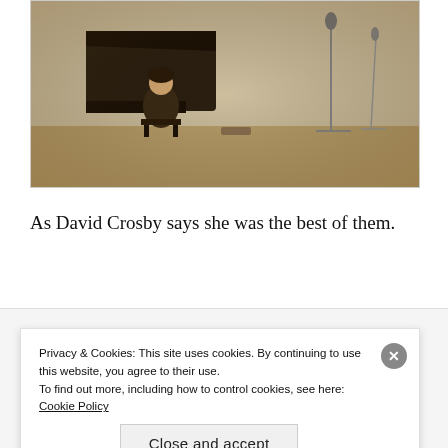[Figure (photo): Sepia-toned vintage photograph of a person sitting at a grand piano on a stage, with microphone stands visible in the background on a wooden stage floor.]
As David Crosby says she was the best of them.
I'm afraid of Americans
Privacy & Cookies: This site uses cookies. By continuing to use this website, you agree to their use.
To find out more, including how to control cookies, see here: Cookie Policy
Close and accept